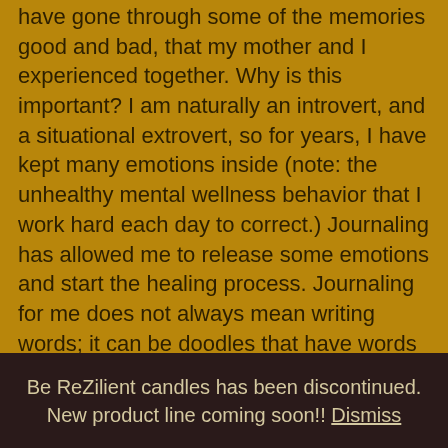have gone through some of the memories good and bad, that my mother and I experienced together. Why is this important? I am naturally an introvert, and a situational extrovert, so for years, I have kept many emotions inside (note: the unhealthy mental wellness behavior that I work hard each day to correct.) Journaling has allowed me to release some emotions and start the healing process. Journaling for me does not always mean writing words; it can be doodles that have words infused into them, poetry, project ideas. The main purpose is to be a dumping area for my emotions, so I don't keep them inside.
7. Reboot: It is hard to reboot when you're not done...
Be ReZilient candles has been discontinued. New product line coming soon!! Dismiss